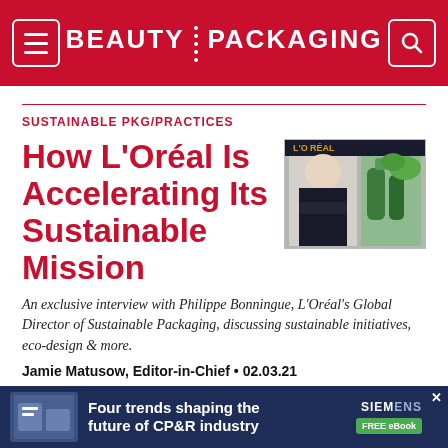BEAUTY PACKAGING
SUSTAINABLE PKG/PRACTICES
[Figure (photo): Photo of Philippe Bonningue in a suit alongside green beauty packaging products, with L'Oréal branding visible.]
How L'Oréal Is Accelerating Its Sustainable Mission
An exclusive interview with Philippe Bonningue, L'Oréal's Global Director of Sustainable Packaging, discussing sustainable initiatives, eco-design & more.
Jamie Matusow, Editor-in-Chief • 02.03.21
[Figure (screenshot): Advertisement banner: Four trends shaping the future of CP&R industry — Siemens FREE eBook]